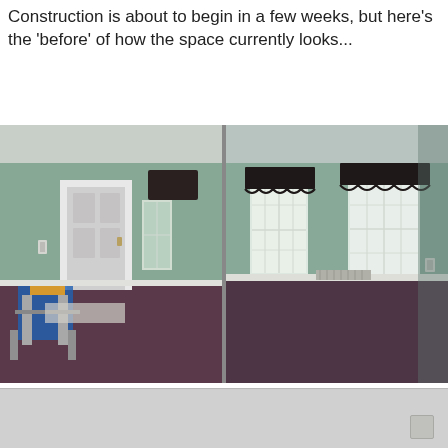Construction is about to begin in a few weeks, but here's the 'before' of how the space currently looks...
[Figure (photo): Two side-by-side interior 'before' photos of an empty room with sage green walls and dark purple/maroon carpet. Left photo shows a doorway, folding chair with colorful items, and a narrow window. Right photo shows two windows with dark curtain valances and an empty room.]